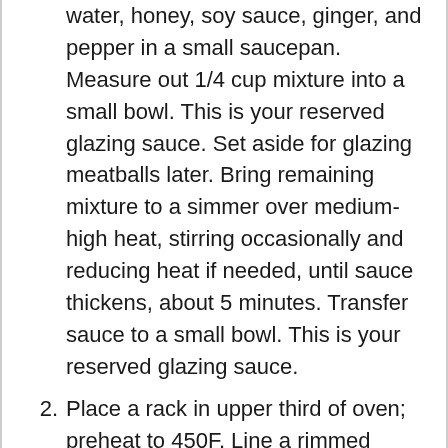water, honey, soy sauce, ginger, and pepper in a small saucepan. Measure out 1/4 cup mixture into a small bowl. This is your reserved glazing sauce. Set aside for glazing meatballs later. Bring remaining mixture to a simmer over medium-high heat, stirring occasionally and reducing heat if needed, until sauce thickens, about 5 minutes. Transfer sauce to a small bowl. This is your reserved glazing sauce.
Place a rack in upper third of oven; preheat to 450F. Line a rimmed baking sheet with foil. Trim broccoli stems and remove from the crown. Peel off the tough outer skin, if needed. Slice crosswise into 1/2-inch pieces. Cut florets into 2-inch pieces. Toss on prepared baking sheet with 1 tablespoon vegetable oil, 1 teaspoon salt, and a few pinches of red pepper flakes (optional). Push to the edges of baking sheet to create a space for meatballs. Brush